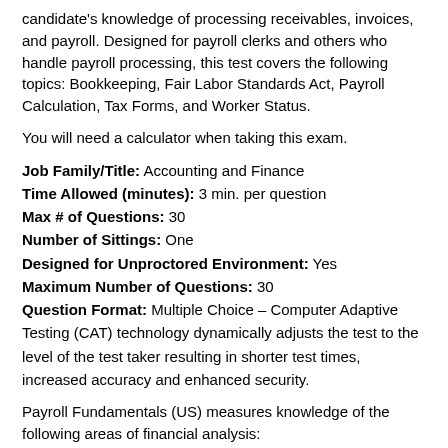candidate's knowledge of processing receivables, invoices, and payroll. Designed for payroll clerks and others who handle payroll processing, this test covers the following topics: Bookkeeping, Fair Labor Standards Act, Payroll Calculation, Tax Forms, and Worker Status.
You will need a calculator when taking this exam.
Job Family/Title: Accounting and Finance
Time Allowed (minutes): 3 min. per question
Max # of Questions: 30
Number of Sittings: One
Designed for Unproctored Environment: Yes
Maximum Number of Questions: 30
Question Format: Multiple Choice – Computer Adaptive Testing (CAT) technology dynamically adjusts the test to the level of the test taker resulting in shorter test times, increased accuracy and enhanced security.
Payroll Fundamentals (US) measures knowledge of the following areas of financial analysis: